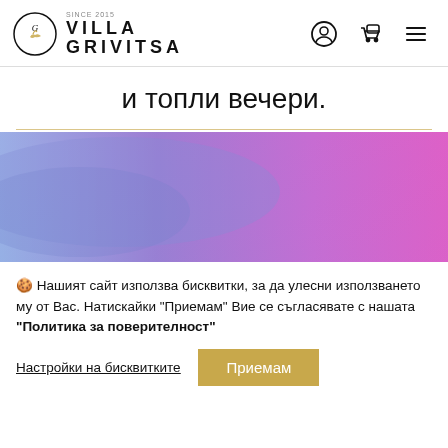Villa Grivitsa Since 2015 — navigation header with logo, user icon, cart icon, and menu icon
и топли вечери.
[Figure (illustration): Horizontal gradient banner transitioning from blue-purple on the left to pink-magenta on the right]
🍪 Нашият сайт използва бисквитки, за да улесни използването му от Вас. Натискайки "Приемам" Вие се съгласявате с нашата "Политика за поверителност"
Настройки на бисквитките   Приемам